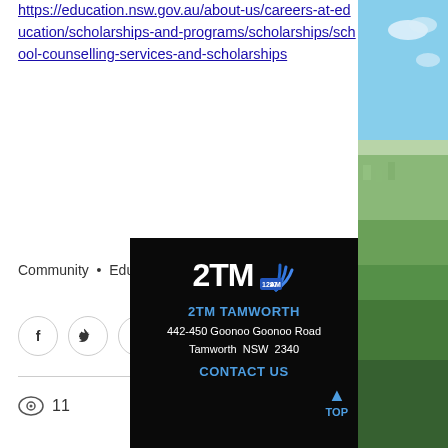https://education.nsw.gov.au/about-us/careers-at-education/scholarships-and-programs/scholarships/school-counselling-services-and-scholarships
Community • Education
[Figure (infographic): Social share buttons: Facebook, Twitter, LinkedIn, Copy Link]
11 views
[Figure (logo): 2TM AM 1287 Tamworth radio station logo with blue wave graphic on black background]
2TM TAMWORTH
442-450 Goonoo Goonoo Road Tamworth NSW 2340
CONTACT US
[Figure (photo): Aerial landscape photo of Tamworth city with blue sky and green hills]